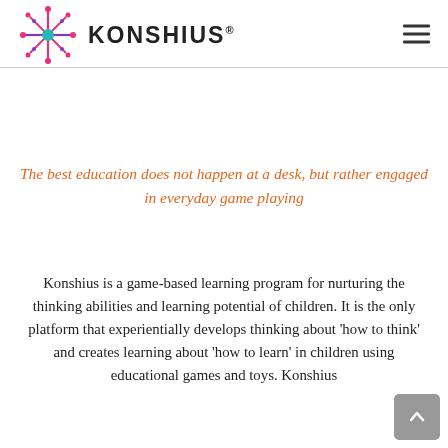[Figure (logo): Konshius logo with decorative snowflake/star icon in pink, teal, and purple colors, followed by bold text KONSHIUS with registered trademark symbol]
The best education does not happen at a desk, but rather engaged in everyday game playing
Konshius is a game-based learning program for nurturing the thinking abilities and learning potential of children. It is the only platform that experientially develops thinking about ‘how to think’ and creates learning about ‘how to learn’ in children using educational games and toys. Konshius